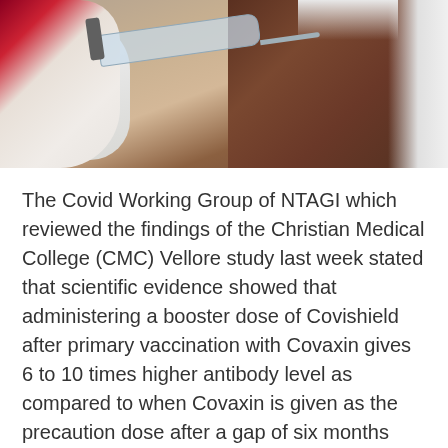[Figure (photo): A healthcare worker in white gloves holding a syringe near a patient's exposed abdomen, preparing for an injection.]
The Covid Working Group of NTAGI which reviewed the findings of the Christian Medical College (CMC) Vellore study last week stated that scientific evidence showed that administering a booster dose of Covishield after primary vaccination with Covaxin gives 6 to 10 times higher antibody level as compared to when Covaxin is given as the precaution dose after a gap of six months after the primary schedule.